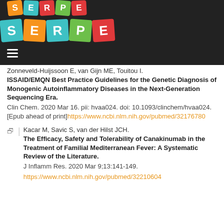[Figure (logo): SERPE logo - colorful letter tiles spelling SERPE, appears twice (small top-left, larger centered), on dark background header bar]
Zonneveld-Huijssoon E, van Gijn ME, Touitou I.
ISSAID/EMQN Best Practice Guidelines for the Genetic Diagnosis of Monogenic Autoinflammatory Diseases in the Next-Generation Sequencing Era.
Clin Chem. 2020 Mar 16. pii: hvaa024. doi: 10.1093/clinchem/hvaa024. [Epub ahead of print]https://www.ncbi.nlm.nih.gov/pubmed/32176780
Kacar M, Savic S, van der Hilst JCH.
The Efficacy, Safety and Tolerability of Canakinumab in the Treatment of Familial Mediterranean Fever: A Systematic Review of the Literature.
J Inflamm Res. 2020 Mar 9;13:141-149.
https://www.ncbi.nlm.nih.gov/pubmed/32210604